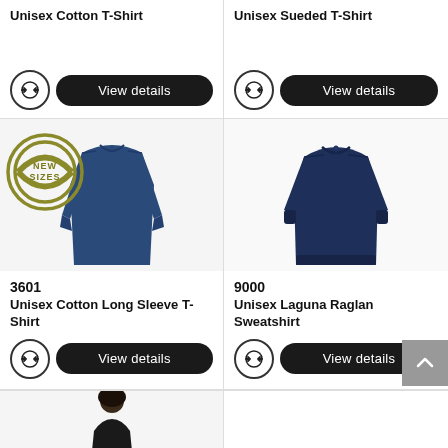Unisex Cotton T-Shirt
Unisex Sueded T-Shirt
[Figure (photo): Blue unisex cotton long sleeve t-shirt with NEW SIZES badge overlay]
3601
Unisex Cotton Long Sleeve T-Shirt
[Figure (photo): Navy blue unisex Laguna Raglan sweatshirt]
9000
Unisex Laguna Raglan Sweatshirt
[Figure (photo): Partial view of model wearing a dark t-shirt, bottom of page preview]